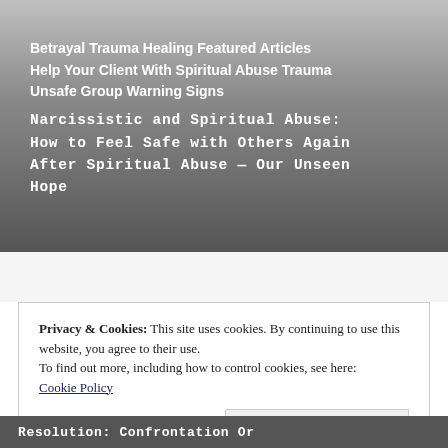Betrayal Trauma Healing Featured Articles
Help Your Client With Spiritual Abuse Trauma
Unsafe Group Warning Signs
Narcissistic and Spiritual Abuse: How to Feel Safe with Others Again After Spiritual Abuse — Our Unseen Hope
Privacy & Cookies: This site uses cookies. By continuing to use this website, you agree to their use.
To find out more, including how to control cookies, see here:
Cookie Policy
Close and accept
Resolution: Confrontation Or